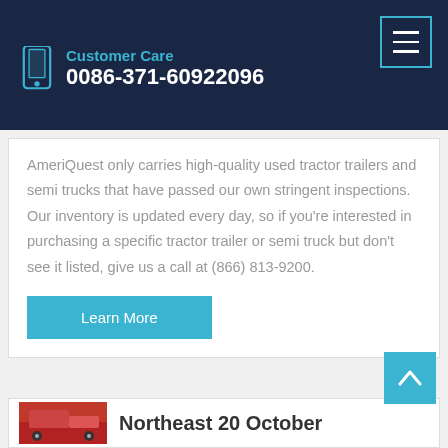Customer Care
0086-371-60922096
AmeriQuest only carries high-quality used tractor trailers and semi trucks that have passed our own stringent inspections. Our inventory is updated every day, so if you're interested in purchasing a specific tractor trailer or semi truck but don't see it listed, give us a call at (866) 813-9200.
Learn More
Northeast 20 October